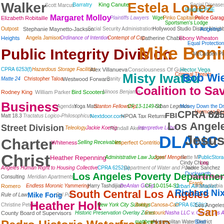[Figure (infographic): Word cloud featuring Los Angeles government, public policy, and community-related terms in various colors and font sizes. Prominent terms include Mike Bonin, Public Integrity Division, DLANC, Jesus Christ, Los Angeles City Charter, Coalition to Save Small Business, Los Angeles Poverty Department, South Central Los Angeles, Heather Holt, San Pedro Historic Waterfront BID, Sakshi Jain, Bethelwel Wilson, and many others.]